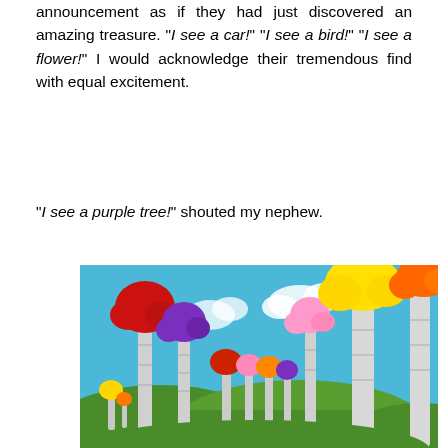announcement as if they had just discovered an amazing treasure. “I see a car!” “I see a bird!” “I see a flower!” I would acknowledge their tremendous find with equal excitement.
“I see a purple tree!” shouted my nephew.
[Figure (illustration): Colorful Dr. Seuss-style cartoon illustration showing multiple Truffula trees with brightly colored tufts (red, purple, yellow, pink, orange) against a blue sky with clouds, and green rolling hills in the foreground.]